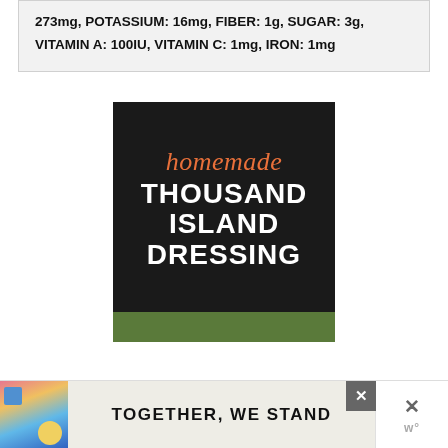273mg, POTASSIUM: 16mg, FIBER: 1g, SUGAR: 3g, VITAMIN A: 100IU, VITAMIN C: 1mg, IRON: 1mg
[Figure (illustration): Dark background recipe image with orange cursive 'homemade' text and white bold uppercase text reading 'THOUSAND ISLAND DRESSING', with a green bar at the bottom showing herbs/salad]
[Figure (infographic): Advertisement banner reading 'TOGETHER, WE STAND' with colorful geometric shapes on the left side]